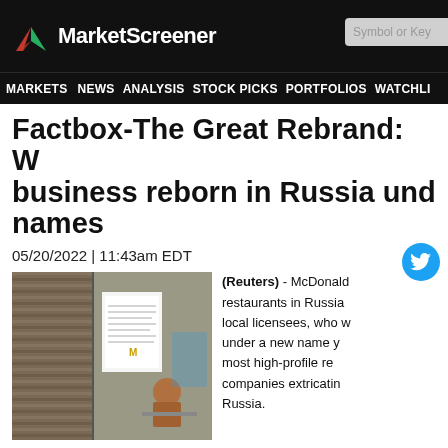MarketScreener
MARKETS NEWS ANALYSIS STOCK PICKS PORTFOLIOS WATCHLI
Factbox-The Great Rebrand: W business reborn in Russia und names
05/20/2022 | 11:43am EDT
[Figure (photo): Photo of a closed McDonald's restaurant in Russia, showing a notice posted on the glass door and a person sitting outside at a table.]
(Reuters) - McDonald restaurants in Russia local licensees, who w under a new name y most high-profile re companies extricatin Russia.